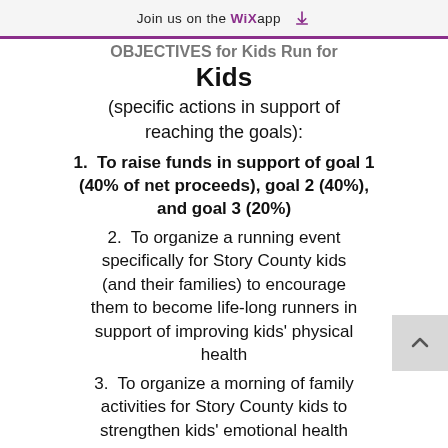Join us on the WiX app ↓
OBJECTIVES for Kids Run for Kids
(specific actions in support of reaching the goals):
1.  To raise funds in support of goal 1 (40% of net proceeds), goal 2 (40%), and goal 3 (20%)
2.  To organize a running event specifically for Story County kids (and their families) to encourage them to become life-long runners in support of improving kids' physical health
3.  To organize a morning of family activities for Story County kids to strengthen kids' emotional health